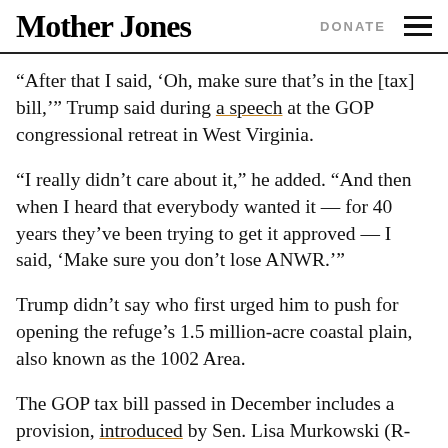Mother Jones | DONATE
“After that I said, ‘Oh, make sure that’s in the [tax] bill,’” Trump said during a speech at the GOP congressional retreat in West Virginia.
“I really didn’t care about it,” he added. “And then when I heard that everybody wanted it — for 40 years they’ve been trying to get it approved — I said, ‘Make sure you don’t lose ANWR.’”
Trump didn’t say who first urged him to push for opening the refuge’s 1.5 million-acre coastal plain, also known as the 1002 Area.
The GOP tax bill passed in December includes a provision, introduced by Sen. Lisa Murkowski (R-